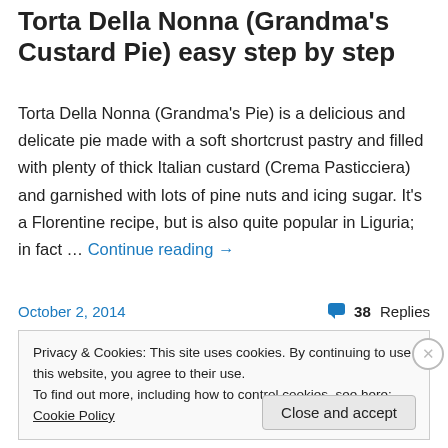Torta Della Nonna (Grandma's Custard Pie) easy step by step
Torta Della Nonna (Grandma's Pie) is a delicious and delicate pie made with a soft shortcrust pastry and filled with plenty of thick Italian custard (Crema Pasticciera) and garnished with lots of pine nuts and icing sugar. It's a Florentine recipe, but is also quite popular in Liguria; in fact … Continue reading →
October 2, 2014
38 Replies
Privacy & Cookies: This site uses cookies. By continuing to use this website, you agree to their use.
To find out more, including how to control cookies, see here: Cookie Policy
Close and accept